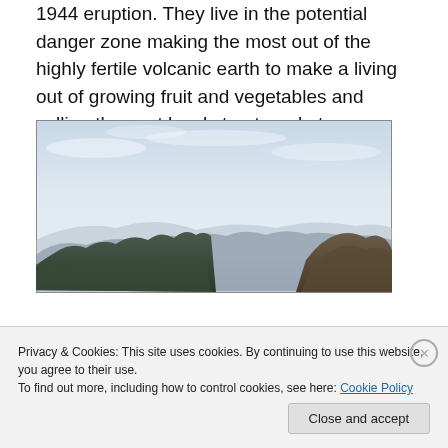1944 eruption. They live in the potential danger zone making the most out of the highly fertile volcanic earth to make a living out of growing fruit and vegetables and selling these at local street markets.
[Figure (photo): Photograph of a volcanic mountain landscape with rocky peaks in the foreground and a hazy sky above.]
Privacy & Cookies: This site uses cookies. By continuing to use this website, you agree to their use. To find out more, including how to control cookies, see here: Cookie Policy